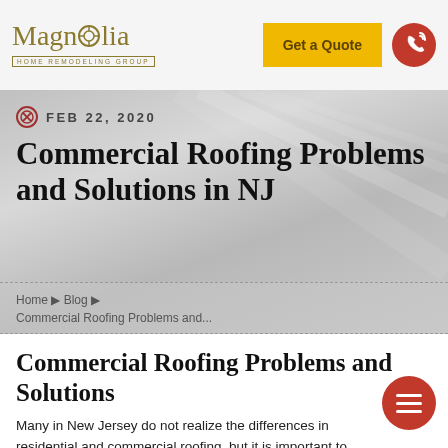Magnolia Home Remodeling Group
FEB 22, 2020
Commercial Roofing Problems and Solutions in NJ
Home ▶ Blog ▶ Commercial Roofing Problems and...
Commercial Roofing Problems and Solutions
Many in New Jersey do not realize the differences in residential and commercial roofing, but it is important to realize they are not the same, there are differences